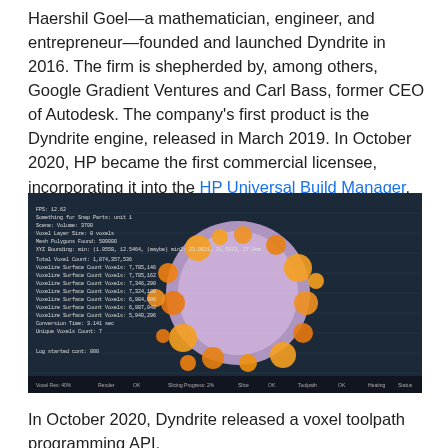Haershil Goel—a mathematician, engineer, and entrepreneur—founded and launched Dyndrite in 2016. The firm is shepherded by, among others, Google Gradient Ventures and Carl Bass, former CEO of Autodesk. The company's first product is the Dyndrite engine, released in March 2019. In October 2020, HP became the first commercial licensee, incorporating it into the HP Universal Build Manager.
[Figure (screenshot): A dark-themed software interface screenshot showing a 3D rendered object—a roughly spherical mass with orange protrusions on a purple/lavender core, displayed against a dark navy blue textured background. Small white text labels are visible in the upper left of the interface. A bottom toolbar is visible with various controls.]
In October 2020, Dyndrite released a voxel toolpath programming API,